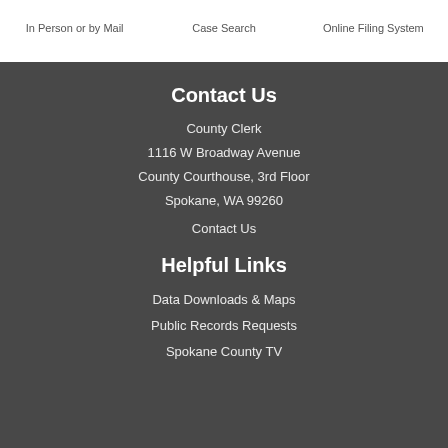In Person or by Mail
Case Search
Online Filing System
Contact Us
County Clerk
1116 W Broadway Avenue
County Courthouse, 3rd Floor
Spokane, WA 99260
Contact Us
Helpful Links
Data Downloads & Maps
Public Records Requests
Spokane County TV